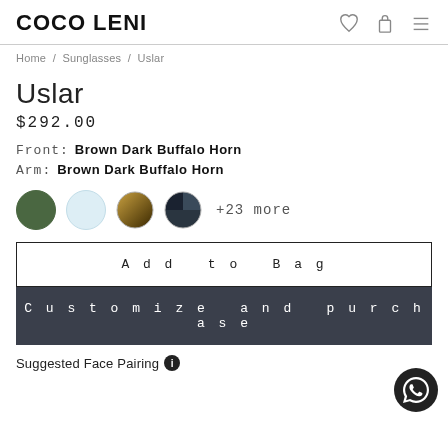COCO LENI
Home / Sunglasses / Uslar
Uslar
$292.00
Front:  Brown Dark Buffalo Horn
Arm:  Brown Dark Buffalo Horn
[Figure (illustration): Four color swatches (circles): dark green, light blue, brown/gold gradient, dark navy/black split; followed by '+23 more' text]
Add to Bag
Customize and purchase
Suggested Face Pairing